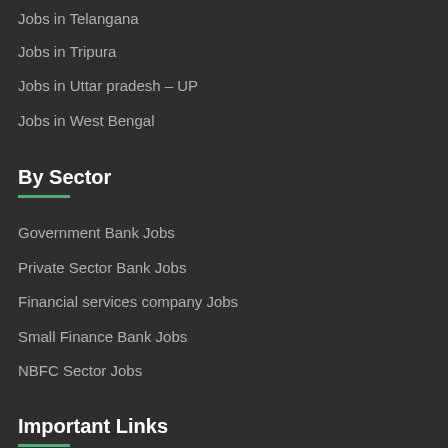Jobs in Telangana
Jobs in Tripura
Jobs in Uttar pradesh – UP
Jobs in West Bengal
By Sector
Government Bank Jobs
Private Sector Bank Jobs
Financial services company Jobs
Small Finance Bank Jobs
NBFC Sector Jobs
Important Links
Privacy Policy